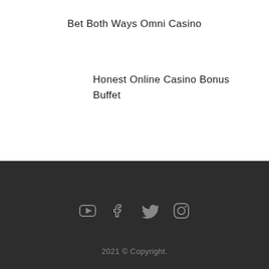Bet Both Ways Omni Casino
Honest Online Casino Bonus Buffet
[Figure (other): Social media icons: YouTube, Facebook, Twitter, Instagram]
2021 © Copyright.